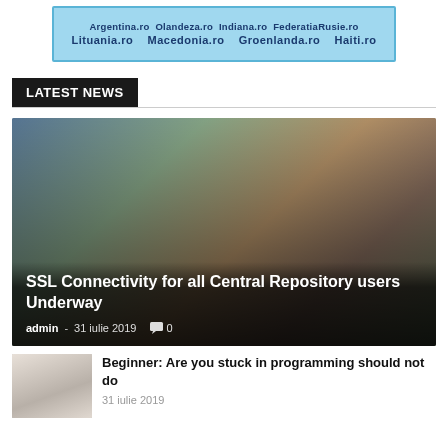[Figure (other): Banner advertisement showing Romanian country domain links: Lituania.ro, Macedonia.ro, Groenlanda.ro, Haiti.ro and others on a light blue background]
LATEST NEWS
[Figure (photo): Photo of a man in a blue plaid shirt sitting outdoors near a tree, used as background for news article thumbnail]
SSL Connectivity for all Central Repository users Underway
admin - 31 iulie 2019  0
[Figure (photo): Small thumbnail photo of a smiling woman]
Beginner: Are you stuck in programming should not do
31 iulie 2019